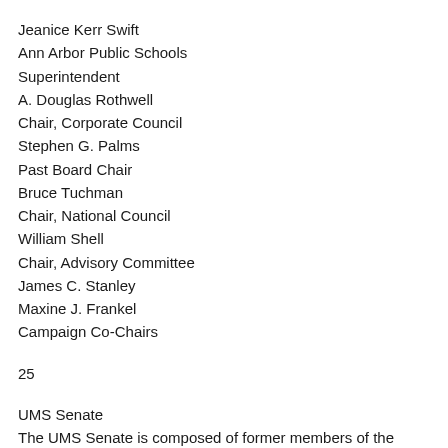Jeanice Kerr Swift
Ann Arbor Public Schools
Superintendent
A. Douglas Rothwell
Chair, Corporate Council
Stephen G. Palms
Past Board Chair
Bruce Tuchman
Chair, National Council
William Shell
Chair, Advisory Committee
James C. Stanley
Maxine J. Frankel
Campaign Co-Chairs
25
UMS Senate
The UMS Senate is composed of former members of the Board of Directors who dedicate time and energy to UMS and our community. Their ongoing commitment and gracious support of UMS are greatly appreciated.
Wadad Abed